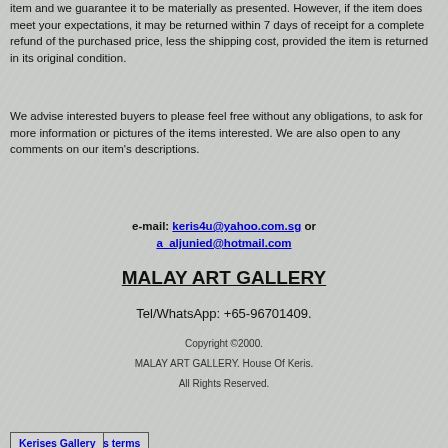item and we guarantee it to be materially as presented. However, if the item does meet your expectations, it may be returned within 7 days of receipt for a complete refund of the purchased price, less the shipping cost, provided the item is returned in its original condition.
We advise interested buyers to please feel free without any obligations, to ask for more information or pictures of the items interested. We are also open to any comments on our item's descriptions.
e-mail: keris4u@yahoo.com.sg or a_aljunied@hotmail.com
MALAY ART GALLERY
Tel/WhatsApp: +65-96701409.
Copyright ©2000.
MALAY ART GALLERY. House Of Keris.
All Rights Reserved.
Home Page | Intro to kris & kris terms | Kerises Gallery